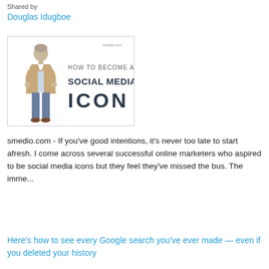Shared by
Douglas Idugboe
[Figure (illustration): Infographic with illustration of a man in casual business attire. Text reads: 'smedio.com' in top right, 'HOW TO BECOME A' in gray, 'SOCIAL MEDIA' in bold dark navy, 'ICON' in large bold dark navy.]
smedio.com - If you've good intentions, it's never too late to start afresh. I come across several successful online marketers who aspired to be social media icons but they feel they've missed the bus. The imme...
Here's how to see every Google search you've ever made — even if you deleted your history